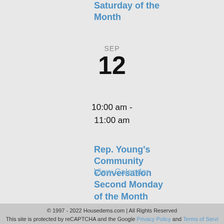Saturday of the Month
SEP
12
10:00 am - 11:00 am
Rep. Young's Community Conversation Second Monday of the Month
View Calendar
© 1997 - 2022 Housedems.com | All Rights Reserved
This site is protected by reCAPTCHA and the Google Privacy Policy and Terms of Servi…